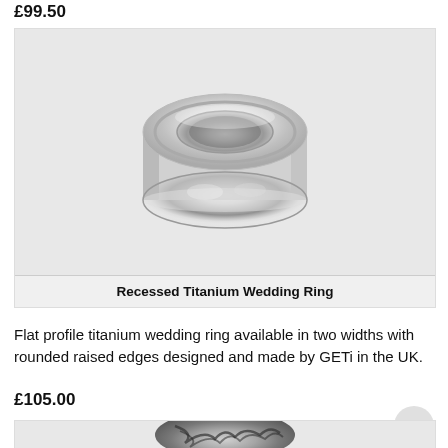£99.50
[Figure (photo): Photo of a recessed titanium wedding ring, silver/metallic, viewed from an angle showing the flat top surface and recessed inner channel. Displayed on a light grey background.]
Recessed Titanium Wedding Ring
Flat profile titanium wedding ring available in two widths with rounded raised edges designed and made by GETi in the UK.
£105.00
[Figure (photo): Partial photo of a second titanium ring with dark flame/wave pattern design, viewed from above. Only the top portion is visible as it is cut off at the bottom of the page.]